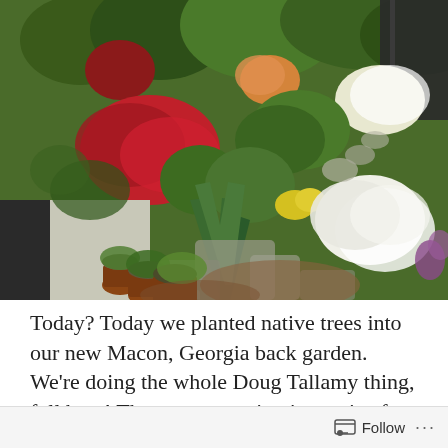[Figure (photo): Aerial view of a lush garden with red, white, and yellow flowers, potted plants, stone pathways, and green foliage. A driveway is visible on the left side.]
Today? Today we planted native trees into our new Macon, Georgia back garden. We're doing the whole Doug Tallamy thing, full bent! The accompanying image is of my 2022 back garden in the Spring Hill, neighborhood in...
Follow ···